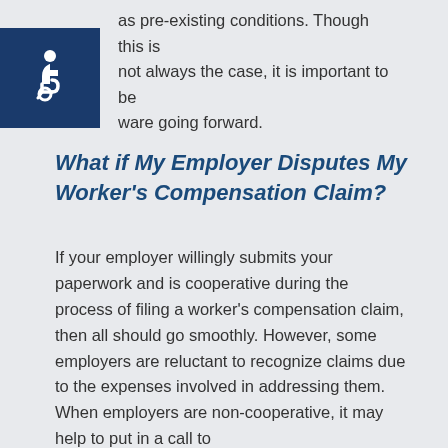as pre-existing conditions. Though this is not always the case, it is important to be aware going forward.
[Figure (illustration): Blue square with white wheelchair accessibility icon (international symbol of access)]
What if My Employer Disputes My Worker's Compensation Claim?
If your employer willingly submits your paperwork and is cooperative during the process of filing a worker's compensation claim, then all should go smoothly. However, some employers are reluctant to recognize claims due to the expenses involved in addressing them. When employers are non-cooperative, it may help to put in a call to